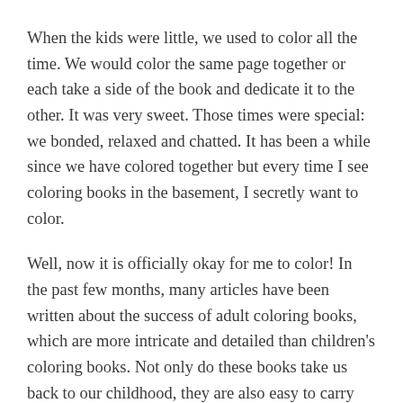When the kids were little, we used to color all the time. We would color the same page together or each take a side of the book and dedicate it to the other. It was very sweet. Those times were special: we bonded, relaxed and chatted. It has been a while since we have colored together but every time I see coloring books in the basement, I secretly want to color.
Well, now it is officially okay for me to color! In the past few months, many articles have been written about the success of adult coloring books, which are more intricate and detailed than children's coloring books. Not only do these books take us back to our childhood, they are also easy to carry and keep around.